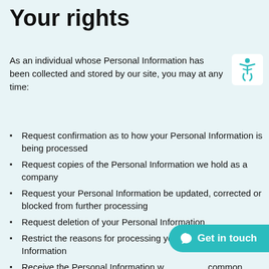Your rights
As an individual whose Personal Information has been collected and stored by our site, you may at any time:
Request confirmation as to how your Personal Information is being processed
Request copies of the Personal Information we hold as a company
Request your Personal Information be updated, corrected or blocked from further processing
Request deletion of your Personal Information
Restrict the reasons for processing your Personal Information
Receive the Personal Information we hold in a common computer-readable form
Request your Personal Information is not used to make automated decisions about you